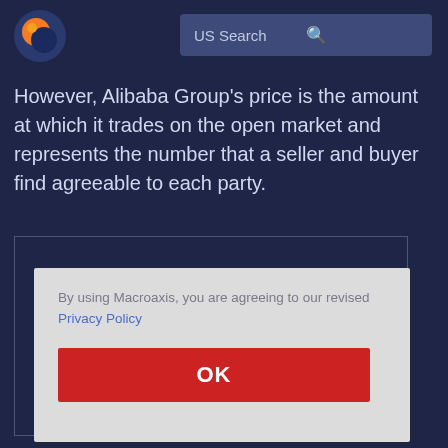US Search
However, Alibaba Group's price is the amount at which it trades on the open market and represents the number that a seller and buyer find agreeable to each party.
By using Macroaxis, you are agreeing to our revised Privacy Policy
OK